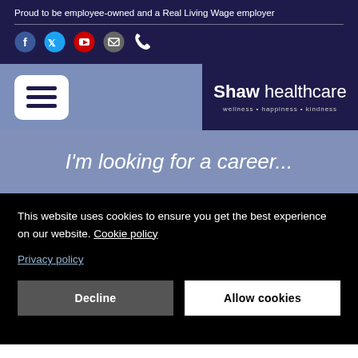Proud to be employee-owned and a Real Living Wage employer
[Figure (infographic): Social media icons: Facebook, Twitter, YouTube, Email, Phone]
[Figure (logo): Hamburger menu button (white rounded rectangle with three dark horizontal lines)]
[Figure (logo): Shaw healthcare logo - wellness + happiness + kindness]
I'm looking for a career...
This website uses cookies to ensure you get the best experience on our website. Cookie policy
Privacy policy
Decline
Allow cookies